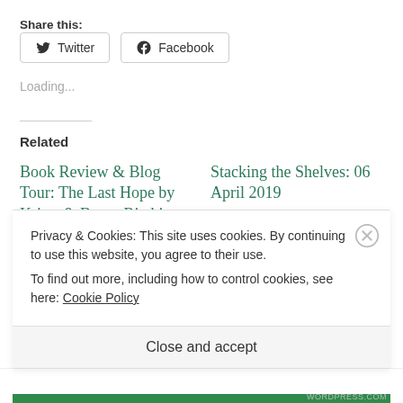Share this:
Twitter  Facebook
Loading...
Related
Book Review & Blog Tour: The Last Hope by Krista & Becca Ritchie (eARC)
Stacking the Shelves: 06 April 2019
April 6, 2019
Privacy & Cookies: This site uses cookies. By continuing to use this website, you agree to their use.
To find out more, including how to control cookies, see here: Cookie Policy
Close and accept